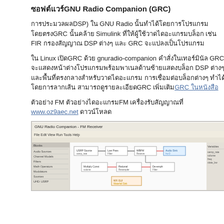ซอฟต์แวร์GNU Radio Companion (GRC)
การประมวลผลDSP) ใน GNU Radio นั้นทำได้โดยการโปรแกรมโดยตรงGRC นั้นคล้าย Simulink ที่ให้ผู้ใช้วาดไดอะแกรมบล็อก เช่น FIR กรองสัญญาณ DSP ต่างๆ และ GRC จะแปลงเป็นโปรแกรม
ใน Linux เปิดGRC ด้วย gnuradio-companion คำสั่งในเทอร์มินัล GRC จะแสดงหน้าต่างโปรแกรมพร้อมพาเนลด้านซ้ายแสดงบล็อก DSP ต่างๆ และพื้นที่ตรงกลางสำหรับวาดไดอะแกรม การเชื่อมต่อบล็อกต่างๆ ทำได้โดยการลากเส้น สามารถดูรายละเอียดGRC เพิ่มเติมGRC ในหนังสือ
ตัวอย่าง FM ตัวอย่างไดอะแกรมFM เครื่องรับสัญญาณที่ www.oz9aec.net ดาวน์โหลด
[Figure (screenshot): Screenshot of GNU Radio Companion (GRC) software showing a flowgraph/block diagram with multiple DSP blocks connected by lines, resembling an FM receiver diagram.]